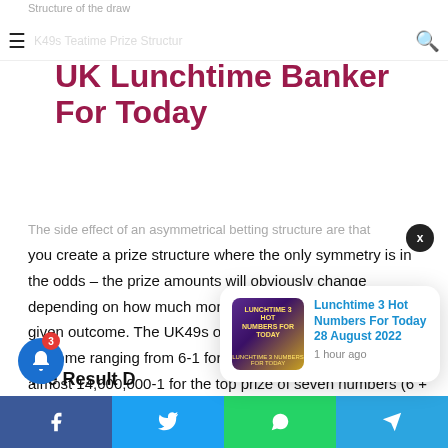Structure of the draw
K49s Teatime Prize Structure
UK Lunchtime Banker For Today
The side effect of an asymmetrical betting structure are that you create a prize structure where the only symmetry is in the odds – the prize amounts will obviously change depending on how much money you decided to wager on the given outcome. The UK49s offers odds for each possible outcome ranging from 6-1 for a single number to odds of almost 14,000,000-1 for the top prize of seven numbers (6 + Bonus Ball). The one variant that never changes in the UK49s is the odds, pretty much everything else can be decided on by the player.
[Figure (infographic): Notification popup showing 'Lunchtime 3 Hot Numbers For Today 28 August 2022' with thumbnail image, posted 1 hour ago]
T e Result D
Social sharing buttons: Facebook, Twitter, WhatsApp, Telegram